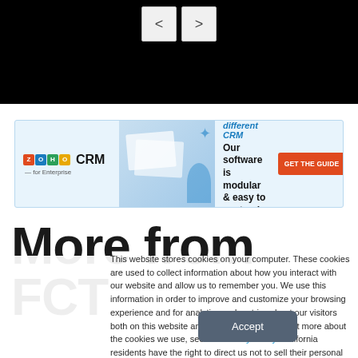[Figure (screenshot): Navigation arrows (back/forward) on black background bar at top of page]
[Figure (screenshot): Zoho CRM for Enterprise advertisement banner with tagline 'Simply different CRM', 'Our software is modular & easy to customize', and 'GET THE GUIDE' button]
More from FCT
This website stores cookies on your computer. These cookies are used to collect information about how you interact with our website and allow us to remember you. We use this information in order to improve and customize your browsing experience and for analytics and metrics about our visitors both on this website and other media. To find out more about the cookies we use, see our Privacy Policy. California residents have the right to direct us not to sell their personal information to third parties by filing an Opt-Out Request: Do Not Sell My Personal Info.